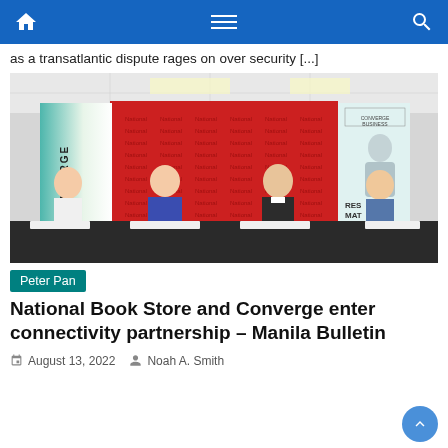Navigation bar with home, menu, and search icons
as a transatlantic dispute rages on over security [...]
[Figure (photo): Four people sitting at a table signing documents. Behind them are banners with Converge branding on the left and right, and a red National Bookstore step-and-repeat backdrop in the center. The woman in a blue jacket and three men in suits or business attire are signing agreements.]
Peter Pan
National Book Store and Converge enter connectivity partnership – Manila Bulletin
August 13, 2022   Noah A. Smith